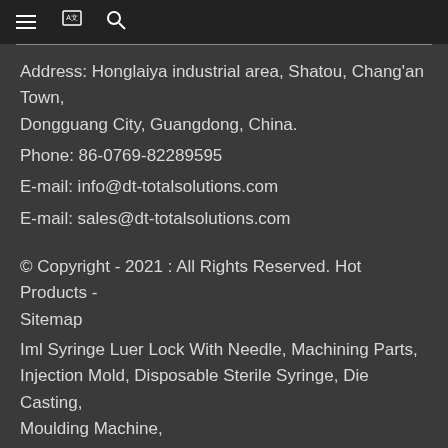Navigation bar with menu, translate, and search icons
Address: Honglaiya industrial area, Shatou, Chang'an Town, Dongguang City, Guangdong, China.
Phone: 86-0769-82289595
E-mail: info@dt-totalsolutions.com
E-mail: sales@dt-totalsolutions.com
© Copyright - 2021 : All Rights Reserved. Hot Products - Sitemap
Iml Syringe Luer Lock With Needle, Machining Parts, Injection Mold, Disposable Sterile Syringe, Die Casting, Moulding Machine,
[Figure (other): Orange INQUIRY NOW button]
[Figure (other): Social media icon circles: blue (Facebook), blue (Twitter/other), light blue, red (Pinterest/YouTube)]